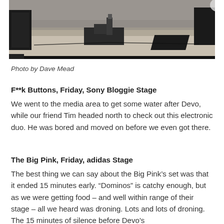[Figure (photo): Concert stage photo showing musicians performing on a large outdoor stage with speakers and equipment visible, large crowd in background]
Photo by Dave Mead
F**k Buttons, Friday, Sony Bloggie Stage
We went to the media area to get some water after Devo, while our friend Tim headed north to check out this electronic duo. He was bored and moved on before we even got there.
The Big Pink, Friday, adidas Stage
The best thing we can say about the Big Pink’s set was that it ended 15 minutes early. “Dominos” is catchy enough, but as we were getting food – and well within range of their stage – all we heard was droning. Lots and lots of droning. The 15 minutes of silence before Devo’s